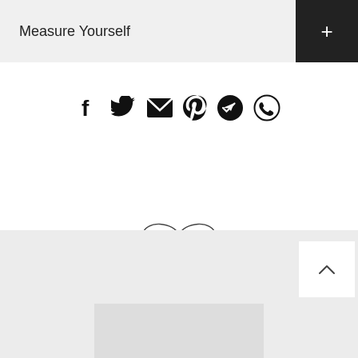Measure Yourself
[Figure (infographic): Row of social sharing icons: Facebook, Twitter, Email, Pinterest, Telegram, WhatsApp]
[Figure (illustration): Infinity symbol (∞) outline in thin strokes, centered on the page]